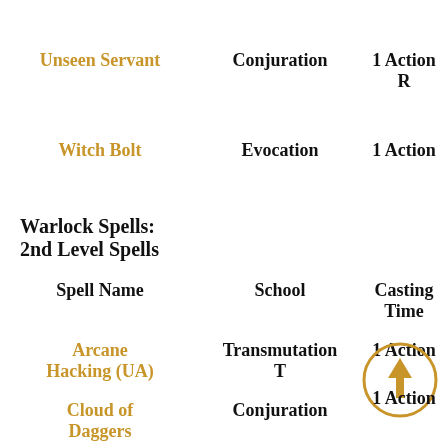Unseen Servant | Conjuration | 1 Action R
Witch Bolt | Evocation | 1 Action
Warlock Spells: 2nd Level Spells
| Spell Name | School | Casting Time |
| --- | --- | --- |
| Arcane Hacking (UA) | Transmutation T | 1 Action |
| Cloud of Daggers | Conjuration | 1 Action |
| Crown of | Enchantment | 1 Action |